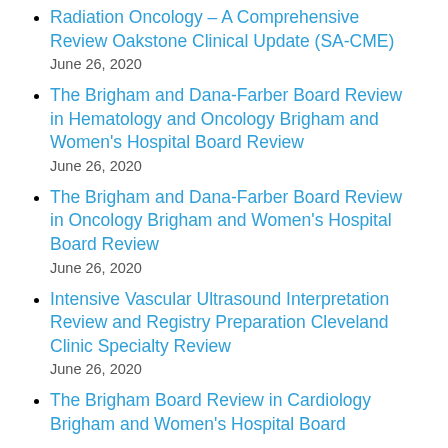Radiation Oncology – A Comprehensive Review Oakstone Clinical Update (SA-CME)
The Brigham and Dana-Farber Board Review in Hematology and Oncology Brigham and Women's Hospital Board Review
The Brigham and Dana-Farber Board Review in Oncology Brigham and Women's Hospital Board Review
Intensive Vascular Ultrasound Interpretation Review and Registry Preparation Cleveland Clinic Specialty Review
The Brigham Board Review in Cardiology Brigham and Women's Hospital Board